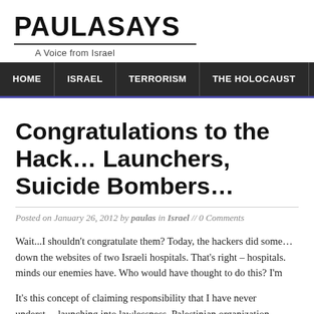PAULASAYS
A Voice from Israel
HOME | ISRAEL | TERRORISM | THE HOLOCAUST | GAZA
Congratulations to the Hackers, Rocket Launchers, Suicide Bombers...
Posted on January 26, 2012 by paulas in Israel // 0 Comments
Wait...I shouldn't congratulate them? Today, the hackers did some... down the websites of two Israeli hospitals. That's right – hospitals. minds our enemies have. Who would have thought to do this? I'm
It's this concept of claiming responsibility that I have never understo... launching into lawlessness. Palestinian organization after...